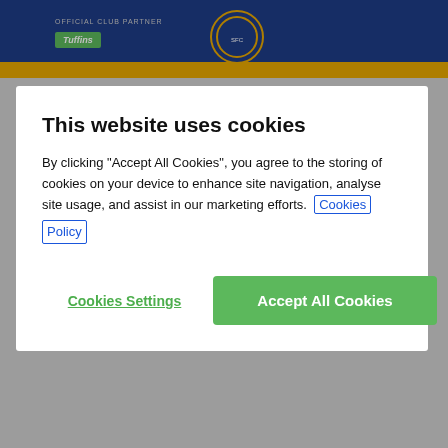[Figure (screenshot): Website header with blue and gold bar, Tuffins official club partner logo, Shrewsbury Town FC crest]
This website uses cookies
By clicking "Accept All Cookies", you agree to the storing of cookies on your device to enhance site navigation, analyse site usage, and assist in our marketing efforts. Cookies Policy
Cookies Settings
Accept All Cookies
to Morecambe
17 February 2022
[Figure (photo): Manager wearing black face mask, Morecambe FC crest visible in top right corner]